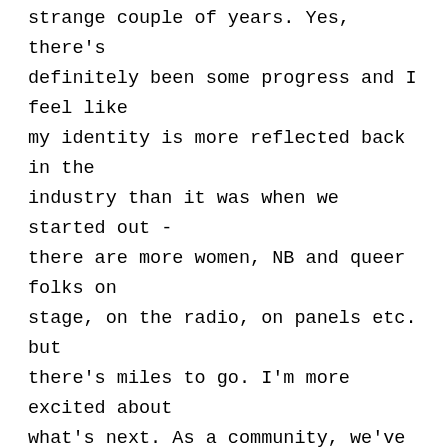strange couple of years. Yes, there's definitely been some progress and I feel like my identity is more reflected back in the industry than it was when we started out - there are more women, NB and queer folks on stage, on the radio, on panels etc. but there's miles to go. I'm more excited about what's next. As a community, we've had a lot of time to reflect on our needs over the last couple of years and we're kind of at a point of 'restart' right now. I personally feel more empowered now to put up boundaries and to call out discriminative behaviour - speaking to other artists I know in Ireland especially, there's a mutual feeling that if